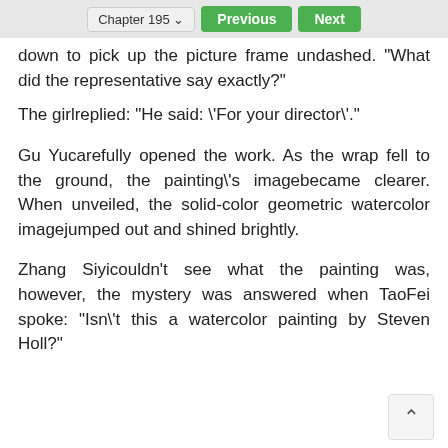Chapter 195  Previous  Next
down to pick up the picture frame undashed. "What did the representative say exactly?"
The girlreplied: “He said: \'For your director\'.”
Gu Yucarefully opened the work. As the wrap fell to the ground, the painting\'s imagebecame clearer. When unveiled, the solid-color geometric watercolor imagejumped out and shined brightly.
Zhang Siyicouldn’t see what the painting was, however, the mystery was answered when TaoFei spoke: “Isn\'t this a watercolor painting by Steven Holl?”